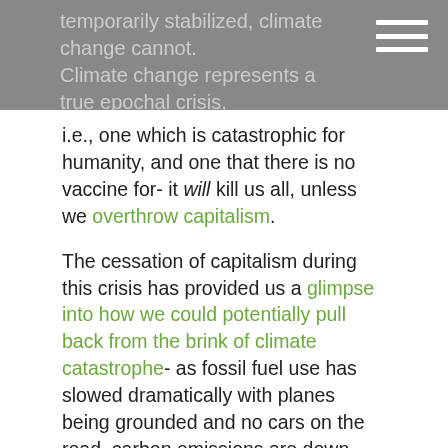temporarily stabilized, climate change cannot. Climate change represents a true epochal crisis,
i.e., one which is catastrophic for humanity, and one that there is no vaccine for- it will kill us all, unless we overthrow capitalism.
The cessation of capitalism during this crisis has provided us a glimpse into how we could potentially pull back from the brink of climate catastrophe- as fossil fuel use has slowed dramatically with planes being grounded and no cars on the road, carbon emissions are down significantly, leading to environmental improvements that are visible from space.
Changing our values and way we order the economy- ending capitalism- is therefore not a